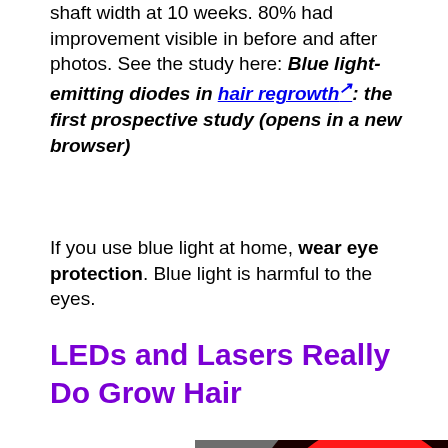shaft width at 10 weeks. 80% had improvement visible in before and after photos. See the study here: Blue light-emitting diodes in hair regrowth: the first prospective study (opens in a new browser)
If you use blue light at home, wear eye protection. Blue light is harmful to the eyes.
LEDs and Lasers Really Do Grow Hair
[Figure (photo): Two oval/egg-shaped red LED light devices side by side on a dark background, emitting bright red and pink light with starburst patterns visible inside.]